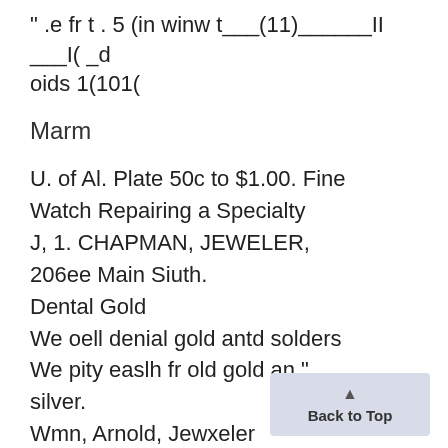" .e fr t . 5 (in winw t___(11)______II ___I( _d oids 1(101(
Marm
U. of Al. Plate 50c to $1.00. Fine Watch Repairing a Specialty J, 1. CHAPMAN, JEWELER, 206ee Main Siuth. Dental Gold We oell denial gold antd solders We pity easlh fr old gold an " silver. Wmn, Arnold, Jewxeler